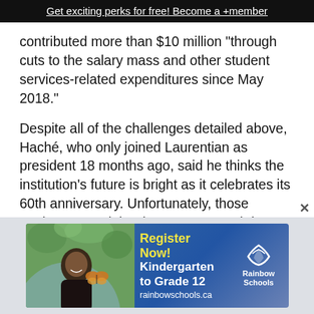Get exciting perks for free! Become a +member
contributed more than $10 million “through cuts to the salary mass and other student services-related expenditures since May 2018.”
Despite all of the challenges detailed above, Haché, who only joined Laurentian as president 18 months ago, said he thinks the institution’s future is bright as it celebrates its 60th anniversary. Unfortunately, those anniversary celebrations were muted due to the pandemic. But Haché said he has no doubt that Laurentian will still be around in another 60 years.
[Figure (photo): Advertisement banner for Rainbow Schools with a child holding a butterfly, text saying Register Now! Kindergarten to Grade 12, rainbowschools.ca]